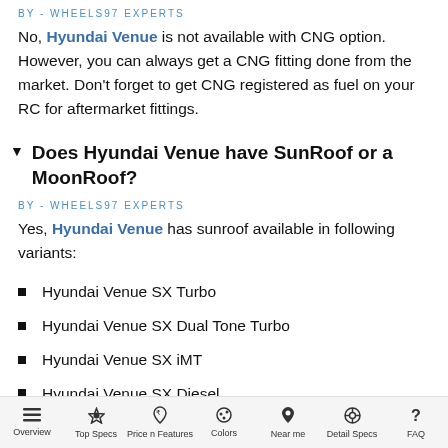BY - WHEELS97 EXPERTS
No, Hyundai Venue is not available with CNG option. However, you can always get a CNG fitting done from the market. Don't forget to get CNG registered as fuel on your RC for aftermarket fittings.
Does Hyundai Venue have SunRoof or a MoonRoof?
BY - WHEELS97 EXPERTS
Yes, Hyundai Venue has sunroof available in following variants:
Hyundai Venue SX Turbo
Hyundai Venue SX Dual Tone Turbo
Hyundai Venue SX iMT
Hyundai Venue SX Diesel
Overview  Top Specs  Price n Features  Colors  Near me  Detail Specs  FAQ